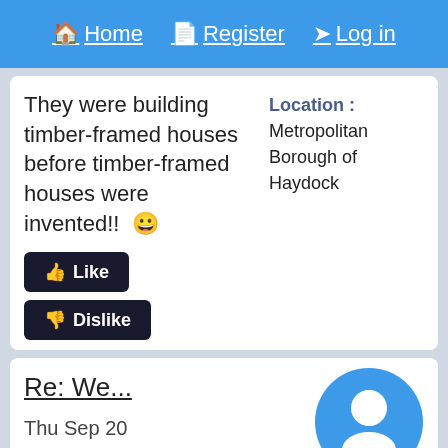Home  Register  Log in
They were building timber-framed houses before timber-framed houses were invented!!  😀
Location : Metropolitan Borough of Haydock
Like
Dislike
Re: We...
Thu Sep 20 2018, 20:56
[Figure (illustration): Blue circular avatar icon with white silhouette of a person]